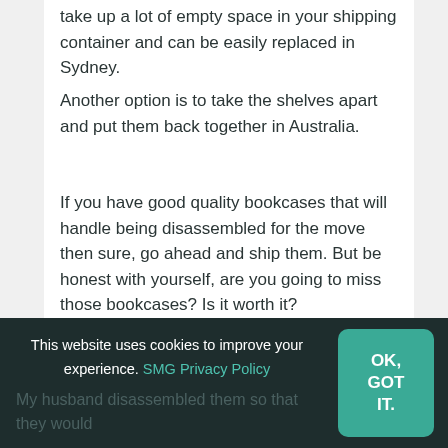take up a lot of empty space in your shipping container and can be easily replaced in Sydney.
Another option is to take the shelves apart and put them back together in Australia.
If you have good quality bookcases that will handle being disassembled for the move then sure, go ahead and ship them. But be honest with yourself, are you going to miss those bookcases? Is it worth it?
I say this because we shipped two bookcases we purchased from Ikea, probably less than two years
My husband disassembled them so that they would
This website uses cookies to improve your experience. SMG Privacy Policy
OK, GOT IT.